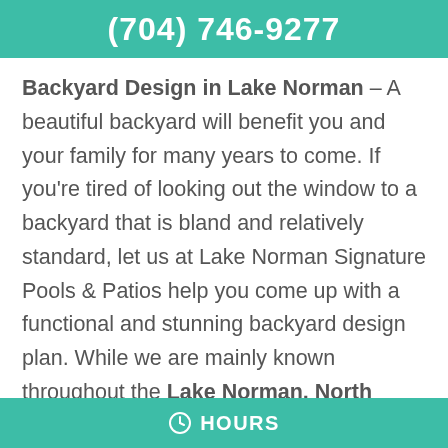(704) 746-9277
Backyard Design in Lake Norman – A beautiful backyard will benefit you and your family for many years to come. If you're tired of looking out the window to a backyard that is bland and relatively standard, let us at Lake Norman Signature Pools & Patios help you come up with a functional and stunning backyard design plan. While we are mainly known throughout the Lake Norman, North Carolina area for the luxurious pools we create, we can also do many other things for your backyard. Before you start a backyard design project with us, we recommend:
HOURS